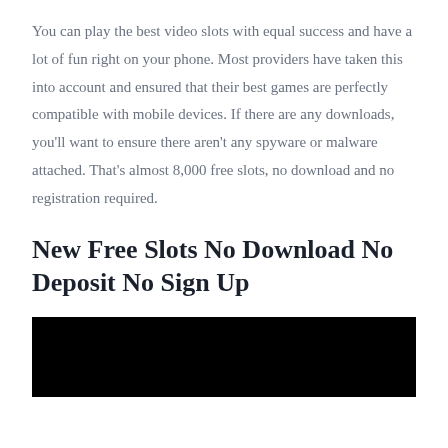You can play the best video slots with equal success and have a lot of fun right on your phone. Most providers have taken this into account and ensured that their best games are perfectly compatible with mobile devices. If there are any downloads, you'll want to ensure there aren't any spyware or malware attached. That's almost 8,000 free slots, no download and no registration required.
New Free Slots No Download No Deposit No Sign Up
[Figure (photo): Black image/video placeholder at the bottom of the page]